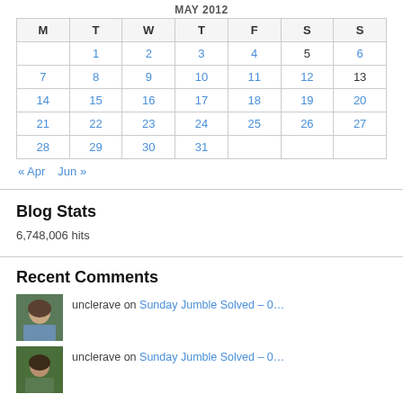| M | T | W | T | F | S | S |
| --- | --- | --- | --- | --- | --- | --- |
|  | 1 | 2 | 3 | 4 | 5 | 6 |
| 7 | 8 | 9 | 10 | 11 | 12 | 13 |
| 14 | 15 | 16 | 17 | 18 | 19 | 20 |
| 21 | 22 | 23 | 24 | 25 | 26 | 27 |
| 28 | 29 | 30 | 31 |  |  |  |
« Apr   Jun »
Blog Stats
6,748,006 hits
Recent Comments
unclerave on Sunday Jumble Solved – 0…
unclerave on Sunday Jumble Solved – 0…